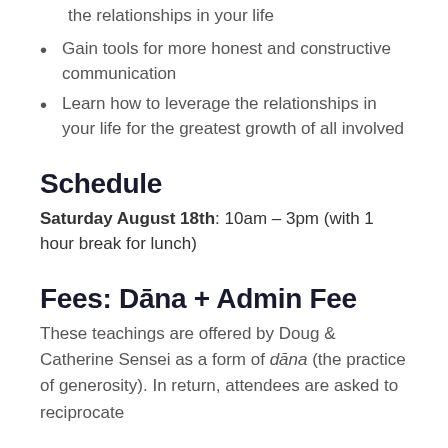the relationships in your life
Gain tools for more honest and constructive communication
Learn how to leverage the relationships in your life for the greatest growth of all involved
Schedule
Saturday August 18th: 10am – 3pm (with 1 hour break for lunch)
Fees: Dāna + Admin Fee
These teachings are offered by Doug & Catherine Sensei as a form of dāna (the practice of generosity). In return, attendees are asked to reciprocate